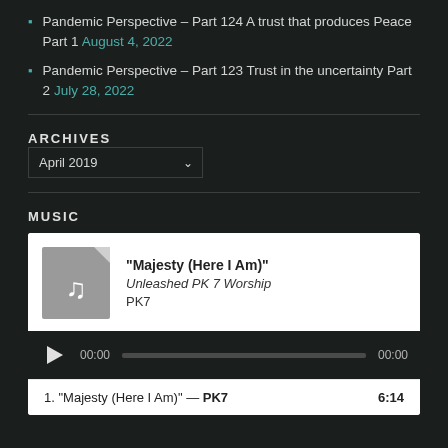Pandemic Perspective – Part 124 A trust that produces Peace Part 1 August 4, 2022
Pandemic Perspective – Part 123 Trust in the uncertainty Part 2 July 28, 2022
ARCHIVES
April 2019 (dropdown)
MUSIC
[Figure (other): Audio player widget showing song Majesty (Here I Am) by Unleashed PK 7 Worship, PK7, with play button, progress bar showing 00:00 / 00:00, and track listing: 1. Majesty (Here I Am) — PK7, duration 6:14]